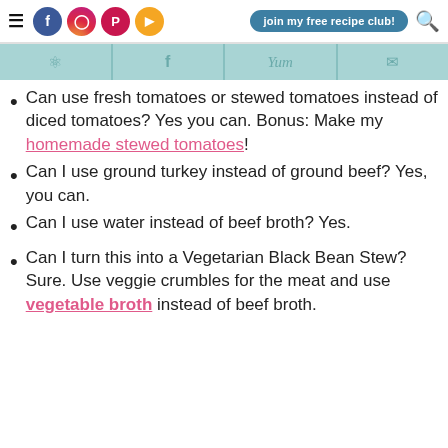Navigation bar with menu, social icons (Facebook, Instagram, Pinterest, YouTube), join my free recipe club! button, and search icon
Social share bar with Pinterest, Facebook, Yum, and email icons
Can use fresh tomatoes or stewed tomatoes instead of diced tomatoes? Yes you can. Bonus: Make my homemade stewed tomatoes!
Can I use ground turkey instead of ground beef? Yes, you can.
Can I use water instead of beef broth? Yes.
Can I turn this into a Vegetarian Black Bean Stew? Sure. Use veggie crumbles for the meat and use vegetable broth instead of beef broth.